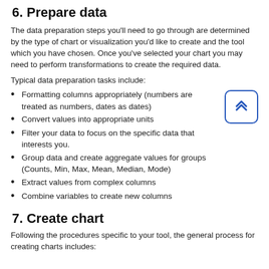6. Prepare data
The data preparation steps you'll need to go through are determined by the type of chart or visualization you'd like to create and the tool which you have chosen. Once you've selected your chart you may need to perform transformations to create the required data.
Typical data preparation tasks include:
Formatting columns appropriately (numbers are treated as numbers, dates as dates)
Convert values into appropriate units
Filter your data to focus on the specific data that interests you.
Group data and create aggregate values for groups (Counts, Min, Max, Mean, Median, Mode)
Extract values from complex columns
Combine variables to create new columns
7. Create chart
Following the procedures specific to your tool, the general process for creating charts includes: